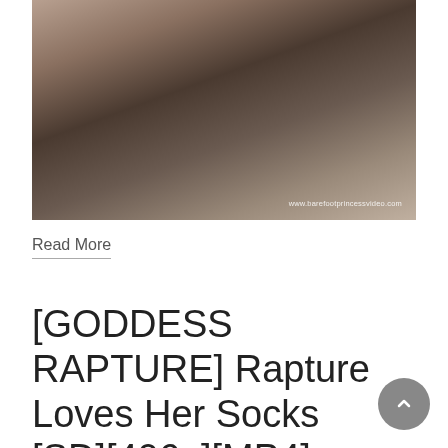[Figure (photo): A close-up photograph of a person with dark hair, face tilted, with a watermark reading www.barefootprincessvideo.com in the lower right corner.]
Read More
[GODDESS RAPTURE] Rapture Loves Her Socks [SD][406p][MP4]